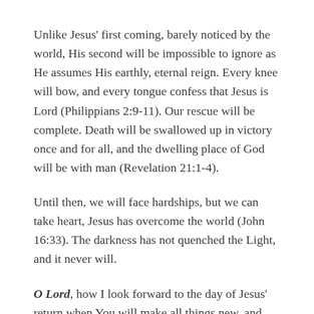Unlike Jesus' first coming, barely noticed by the world, His second will be impossible to ignore as He assumes His earthly, eternal reign. Every knee will bow, and every tongue confess that Jesus is Lord (Philippians 2:9-11). Our rescue will be complete. Death will be swallowed up in victory once and for all, and the dwelling place of God will be with man (Revelation 21:1-4).
Until then, we will face hardships, but we can take heart, Jesus has overcome the world (John 16:33). The darkness has not quenched the Light, and it never will.
O Lord, how I look forward to the day of Jesus' return when You will make all things new, and death will be no more. I thank You that while we wait, confident in all your promises, we're never alone as Your indwelling